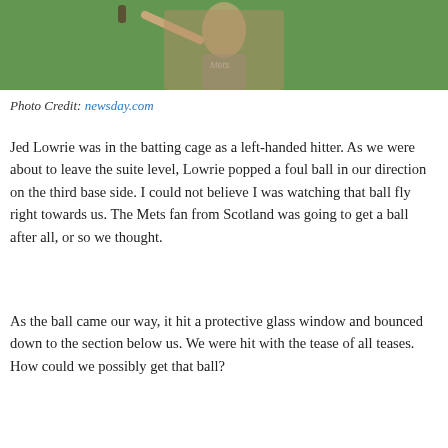[Figure (photo): A baseball player in a New York Mets grey t-shirt and blue batting gloves holding a bat, standing on a green field.]
Photo Credit: newsday.com
Jed Lowrie was in the batting cage as a left-handed hitter. As we were about to leave the suite level, Lowrie popped a foul ball in our direction on the third base side. I could not believe I was watching that ball fly right towards us. The Mets fan from Scotland was going to get a ball after all, or so we thought.
As the ball came our way, it hit a protective glass window and bounced down to the section below us. We were hit with the tease of all teases. How could we possibly get that ball?